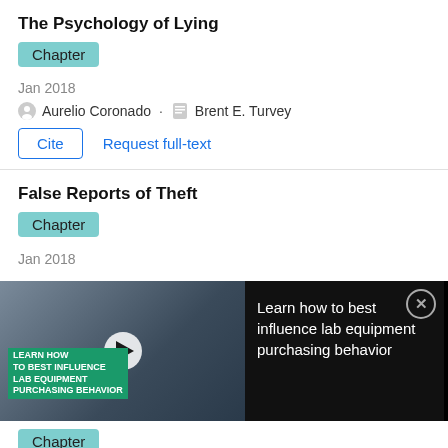The Psychology of Lying
Chapter
Jan 2018
Aurelio Coronado · Brent E. Turvey
Cite   Request full-text
False Reports of Theft
Chapter
Jan 2018
[Figure (screenshot): Video advertisement overlay: thumbnail of lab equipment on left with play button and green text banner reading 'LEARN HOW TO BEST INFLUENCE LAB EQUIPMENT PURCHASING BEHAVIOR'. On the right a black panel with white text: 'Learn how to best influence lab equipment purchasing behavior' and a close button (X circle).]
Chapter
Dec 2017
Brent E. Turvey · Stan Crowder
Those who solve complex problems do so by gathering